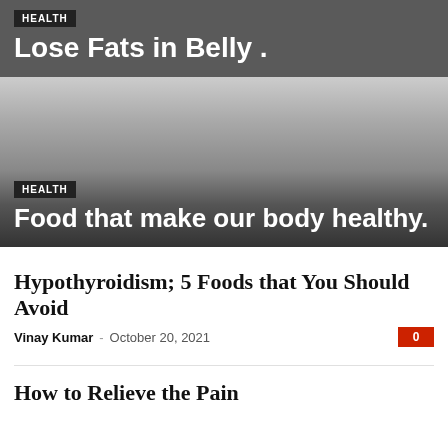HEALTH
Lose Fats in Belly .
[Figure (photo): Hero image with gradient overlay, dark to light gray background representing a health/food article image]
HEALTH
Food that make our body healthy.
Hypothyroidism; 5 Foods that You Should Avoid
Vinay Kumar – October 20, 2021  0
How to Relieve the Pain